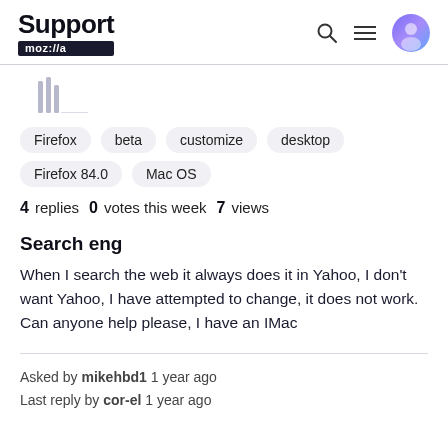Support moz://a
[Figure (illustration): Library/bookmark stack icon in light gray]
Firefox
beta
customize
desktop
Firefox 84.0
Mac OS
4 replies  0 votes this week  7 views
Search eng
When I search the web it always does it in Yahoo, I don't want Yahoo, I have attempted to change, it does not work. Can anyone help please, I have an IMac
Asked by mikehbd1 1 year ago
Last reply by cor-el 1 year ago